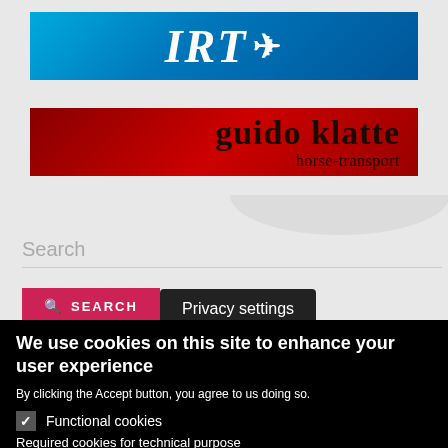[Figure (logo): IRT logo banner with airplane icon on blue gradient background]
[Figure (logo): Guido Klatte horse-transport banner on red gradient background]
Search
Privacy settings
SEARCH
We use cookies on this site to enhance your user experience
By clicking the Accept button, you agree to us doing so.
Functional cookies
Required cookies for technical purpose